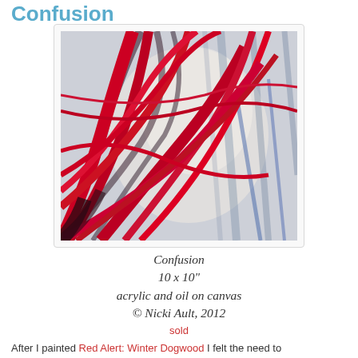Confusion
[Figure (illustration): Painting of red and dark branches against a light blue-grey background with blue streaks, titled Confusion by Nicki Ault]
Confusion
10 x 10"
acrylic and oil on canvas
© Nicki Ault, 2012
sold
After I painted Red Alert: Winter Dogwood I felt the need to